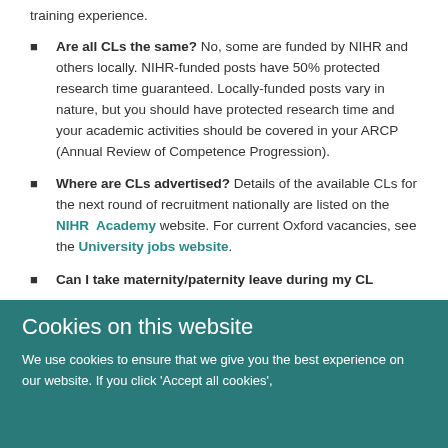training experience.
Are all CLs the same? No, some are funded by NIHR and others locally. NIHR-funded posts have 50% protected research time guaranteed. Locally-funded posts vary in nature, but you should have protected research time and your academic activities should be covered in your ARCP (Annual Review of Competence Progression).
Where are CLs advertised? Details of the available CLs for the next round of recruitment nationally are listed on the NIHR Academy website. For current Oxford vacancies, see the University jobs website.
Can I take maternity/paternity leave during my CL
Cookies on this website
We use cookies to ensure that we give you the best experience on our website. If you click 'Accept all cookies',